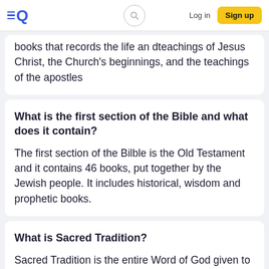EQ | Search | Log in | Sign up
books that records the life and teachings of Jesus Christ, the Church's beginnings, and the teachings of the apostles
What is the first section of the Bible and what does it contain?
The first section of the Bilble is the Old Testament and it contains 46 books, put together by the Jewish people. It includes historical, wisdom and prophetic books.
What is Sacred Tradition?
Sacred Tradition is the entire Word of God given to us by Jesus Christ to the apostles, who gave it